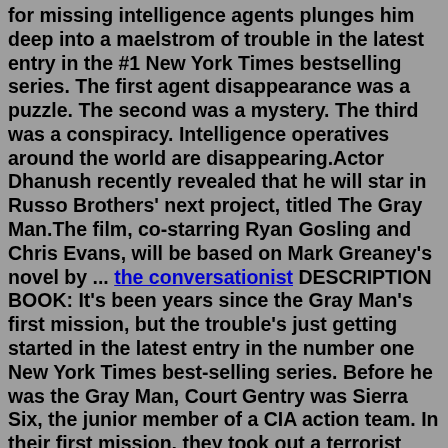for missing intelligence agents plunges him deep into a maelstrom of trouble in the latest entry in the #1 New York Times bestselling series. The first agent disappearance was a puzzle. The second was a mystery. The third was a conspiracy. Intelligence operatives around the world are disappearing.Actor Dhanush recently revealed that he will star in Russo Brothers' next project, titled The Gray Man.The film, co-starring Ryan Gosling and Chris Evans, will be based on Mark Greaney's novel by ... the conversationist DESCRIPTION BOOK: It's been years since the Gray Man's first mission, but the trouble's just getting started in the latest entry in the number one New York Times best-selling series. Before he was the Gray Man, Court Gentry was Sierra Six, the junior member of a CIA action team. In their first mission, they took out a terrorist leader, at a ...Author: Mark Greaney Book: RELENTLESS: A Gray Man Novel Publishing: Berkley (February 16, 2021) Synopsis (from the Publisher): The Gray Man's search for missing intelligence agents plunges him